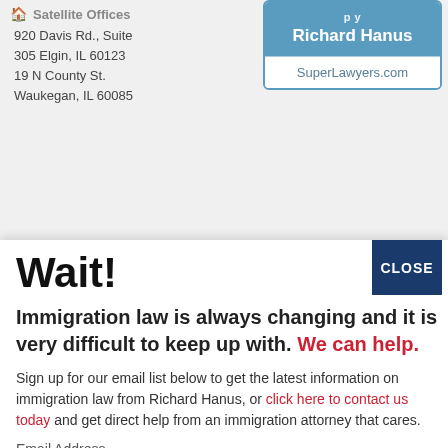Satellite Offices
920 Davis Rd., Suite 305 Elgin, IL 60123
19 N County St.
Waukegan, IL 60085
[Figure (other): SuperLawyers.com badge with name Richard Hanus on blue background]
Wait!
Immigration law is always changing and it is very difficult to keep up with. We can help.
Sign up for our email list below to get the latest information on immigration law from Richard Hanus, or click here to contact us today and get direct help from an immigration attorney that cares.
Email Address